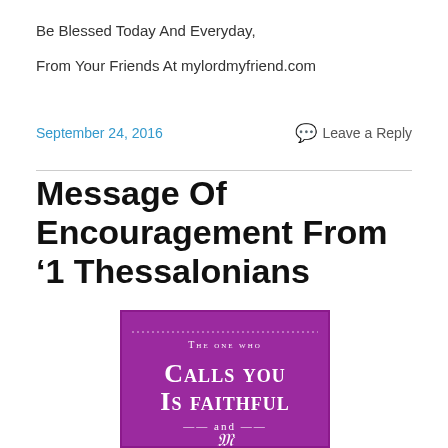Be Blessed Today And Everyday,
From Your Friends At mylordmyfriend.com
September 24, 2016
Leave a Reply
Message Of Encouragement From ‘1 Thessalonians
[Figure (illustration): Purple background inspirational image with white text: 'The one who Calls you Is faithful --- and ---' with decorative dotted border at top]